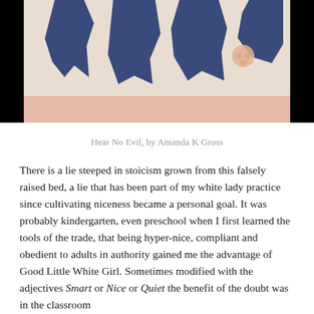[Figure (illustration): Abstract artwork titled 'Hear No Evil' by Amanda K Gross. Dark blue organic shapes on a cream/beige background with a salmon/pink horizontal stripe at the bottom. A small peach-colored skull face is visible on the right side. The artwork is displayed against a black background border.]
Hear No Evil, by Amanda K Gross
There is a lie steeped in stoicism grown from this falsely raised bed, a lie that has been part of my white lady practice since cultivating niceness became a personal goal. It was probably kindergarten, even preschool when I first learned the tools of the trade, that being hyper-nice, compliant and obedient to adults in authority gained me the advantage of Good Little White Girl. Sometimes modified with the adjectives Smart or Nice or Quiet the benefit of the doubt was in the classroom